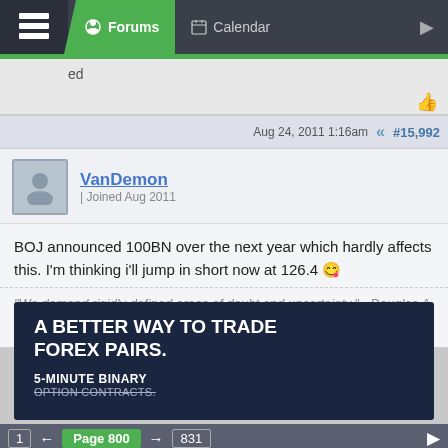Forums | Calendar
ed
Aug 24, 2011 1:16am   #15,992
VanDemon | Joined Aug 2011
BOJ announced 100BN over the next year which hardly affects this. I'm thinking i'll jump in short now at 126.4 😉
"We demand rigidly defined areas of doubt and uncertainty." - Douglas A
[Figure (screenshot): Advertisement banner: A BETTER WAY TO TRADE FOREX PAIRS. 5-MINUTE BINARY OPTION CONTRACTS.]
1 ← Page 800 → 831